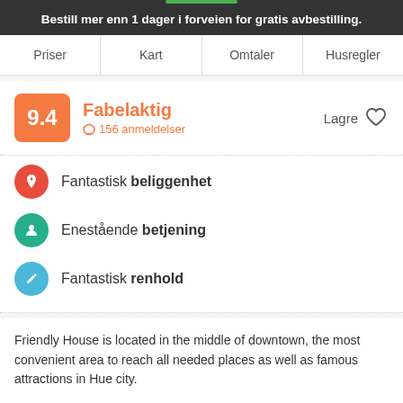Bestill mer enn 1 dager i forveien for gratis avbestilling.
Priser | Kart | Omtaler | Husregler
9.4 Fabelaktig 156 anmeldelser Lagre
Fantastisk beliggenhet
Enestående betjening
Fantastisk renhold
Friendly House is located in the middle of downtown, the most convenient area to reach all needed places as well as famous attractions in Hue city.
Our Hostel has single rooms, Female Room with 4 beds and Mix Dorm Room 6 beds, Mix Dorm Room 8 beds for your group friends.